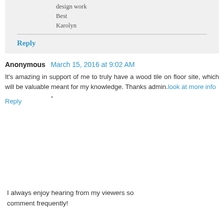design work
Best
Karolyn
Reply
Anonymous  March 15, 2016 at 9:02 AM
It's amazing in support of me to truly have a wood tile on floor site, which will be valuable meant for my knowledge. Thanks admin.look at more info
Reply
I always enjoy hearing from my viewers so comment frequently!